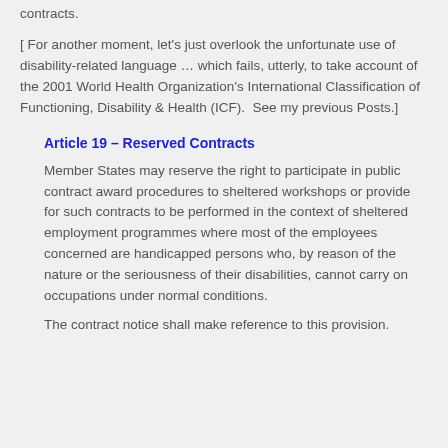contracts.
[ For another moment, let's just overlook the unfortunate use of disability-related language … which fails, utterly, to take account of the 2001 World Health Organization's International Classification of Functioning, Disability & Health (ICF).  See my previous Posts.]
Article 19 – Reserved Contracts
Member States may reserve the right to participate in public contract award procedures to sheltered workshops or provide for such contracts to be performed in the context of sheltered employment programmes where most of the employees concerned are handicapped persons who, by reason of the nature or the seriousness of their disabilities, cannot carry on occupations under normal conditions.
The contract notice shall make reference to this provision.